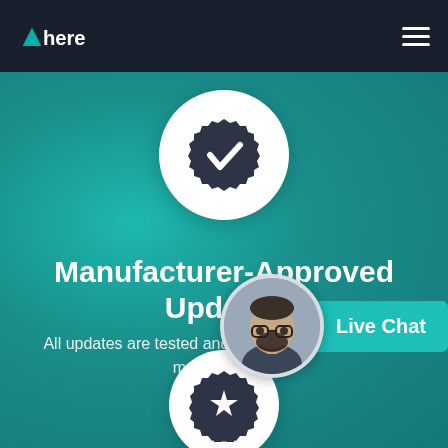HERE logo navigation bar
[Figure (illustration): White circle with dark badge/verified checkmark icon in center, on teal textured background]
Manufacturer-Approved Updates
All updates are tested and approved by automotive manufacturers
[Figure (photo): Live Chat widget: circular avatar photo of bearded man with glasses on teal background, with teal 'Live Chat' label button]
[Figure (illustration): White circle with dark award/ribbon star badge icon, partially visible at bottom of page]